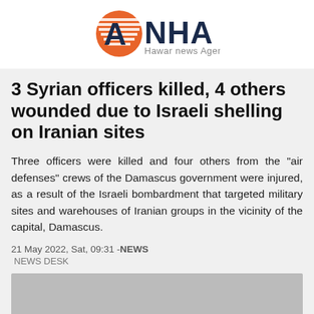ANHA Hawar news Agency
3 Syrian officers killed, 4 others wounded due to Israeli shelling on Iranian sites
Three officers were killed and four others from the "air defenses" crews of the Damascus government were injured, as a result of the Israeli bombardment that targeted military sites and warehouses of Iranian groups in the vicinity of the capital, Damascus.
21 May 2022, Sat, 09:31 - NEWS
  NEWS DESK
[Figure (photo): Gray placeholder image at bottom of article]